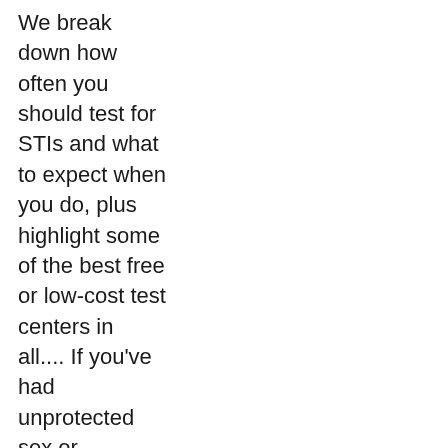We break down how often you should test for STIs and what to expect when you do, plus highlight some of the best free or low-cost test centers in all.... If you've had unprotected sex or experienced condom failure, there are a of things you can do to prevent pregnancy and protect against STIs and.... Condoms are the only way to protect against STIs during penile sex — that includes penile-oral sex, penile-vaginal